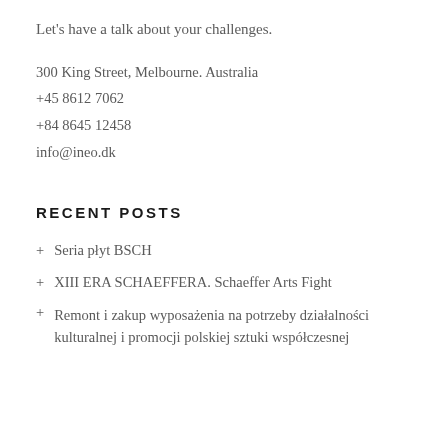Let's have a talk about your challenges.
300 King Street, Melbourne. Australia
+45 8612 7062
+84 8645 12458
info@ineo.dk
RECENT POSTS
+ Seria płyt BSCH
+ XIII ERA SCHAEFFERA. Schaeffer Arts Fight
+ Remont i zakup wyposażenia na potrzeby działalności kulturalnej i promocji polskiej sztuki współczesnej